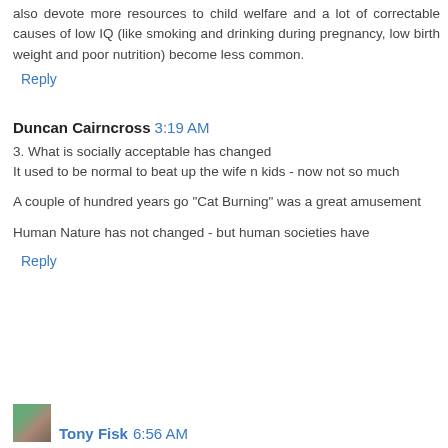also devote more resources to child welfare and a lot of correctable causes of low IQ (like smoking and drinking during pregnancy, low birth weight and poor nutrition) become less common.
Reply
Duncan Cairncross 3:19 AM
3. What is socially acceptable has changed
It used to be normal to beat up the wife n kids - now not so much
A couple of hundred years go "Cat Burning" was a great amusement
Human Nature has not changed - but human societies have
Reply
Tony Fisk 6:56 AM